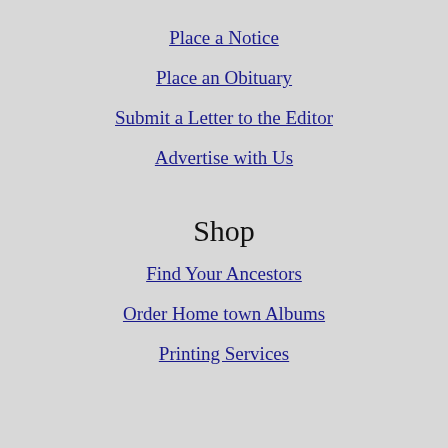Place a Notice
Place an Obituary
Submit a Letter to the Editor
Advertise with Us
Shop
Find Your Ancestors
Order Home town Albums
Printing Services